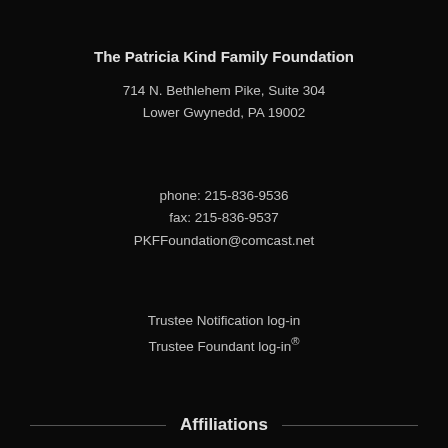The Patricia Kind Family Foundation
714 N. Bethlehem Pike, Suite 304
Lower Gwynedd, PA 19002
phone: 215-836-9536
fax: 215-836-9537
PKFFoundation@comcast.net
Trustee Notification log-in
Trustee Foundant log-in®
Affiliations